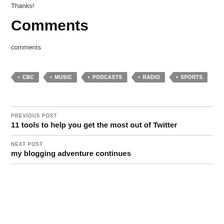Thanks!
Comments
comments
CBC
MUSIC
PODCASTS
RADIO
SPORTS
PREVIOUS POST
11 tools to help you get the most out of Twitter
NEXT POST
my blogging adventure continues